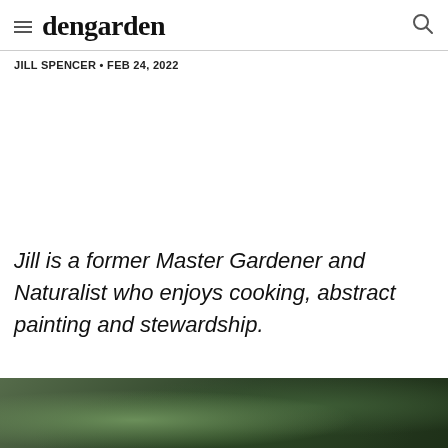dengarden
JILL SPENCER • FEB 24, 2022
Jill is a former Master Gardener and Naturalist who enjoys cooking, abstract painting and stewardship.
[Figure (photo): Close-up photo of green leafy plants/ferns, dark green foliage]